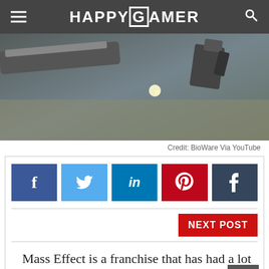HAPPYGAMER
[Figure (photo): Screenshot from a video game showing a spacecraft or weapon in a dark atmospheric environment with a bright light source in the background]
Credit: BioWare Via YouTube
[Figure (infographic): Social share buttons: Facebook (blue), Twitter (light blue), LinkedIn (dark blue), Pinterest (red), Tumblr (dark slate blue)]
NEXT POST
Mass Effect is a franchise that has had a lot of ups and downs.
The series has experienced the highest of highs.